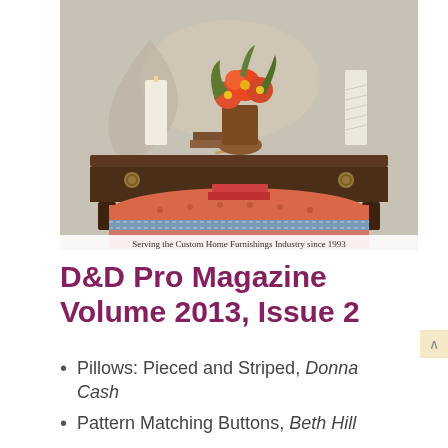[Figure (photo): Interior design photo showing a dark wood console table with decorative hardware, candles, a floral arrangement, and an upholstered coral/orange tufted ottoman with a blue trim band in front. Caption reads: Serving the Custom Home Furnishings Industry since 1993]
Serving the Custom Home Furnishings Industry since 1993
D&D Pro Magazine Volume 2013, Issue 2
Pillows: Pieced and Striped, Donna Cash
Pattern Matching Buttons, Beth Hill